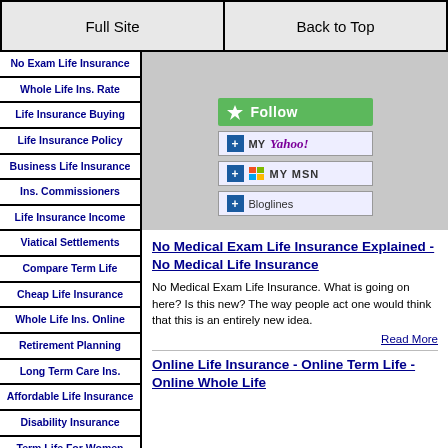Full Site | Back to Top
No Exam Life Insurance
Whole Life Ins. Rate
Life Insurance Buying
Life Insurance Policy
Business Life Insurance
Ins. Commissioners
Life Insurance Income
Viatical Settlements
Compare Term Life
Cheap Life Insurance
Whole Life Ins. Online
Retirement Planning
Long Term Care Ins.
Affordable Life Insurance
Disability Insurance
Term Life For Women
Life Insurance Coverage
[Figure (screenshot): Social follow buttons: Follow (green), My Yahoo!, My MSN, Bloglines]
No Medical Exam Life Insurance Explained - No Medical Life Insurance
No Medical Exam Life Insurance. What is going on here? Is this new? The way people act one would think that this is an entirely new idea.
Read More
Online Life Insurance - Online Term Life - Online Whole Life